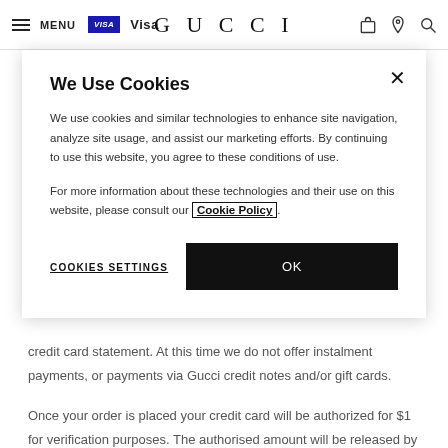MENU  Visa  GUCCI
We Use Cookies
We use cookies and similar technologies to enhance site navigation, analyze site usage, and assist our marketing efforts. By continuing to use this website, you agree to these conditions of use.
For more information about these technologies and their use on this website, please consult our Cookie Policy.
COOKIES SETTINGS
OK
credit card statement. At this time we do not offer instalment payments, or payments via Gucci credit notes and/or gift cards.
Once your order is placed your credit card will be authorized for $1 for verification purposes. The authorised amount will be released by your credit card's issuing bank according to its policy. The full transaction value will be charged to your credit card after we have